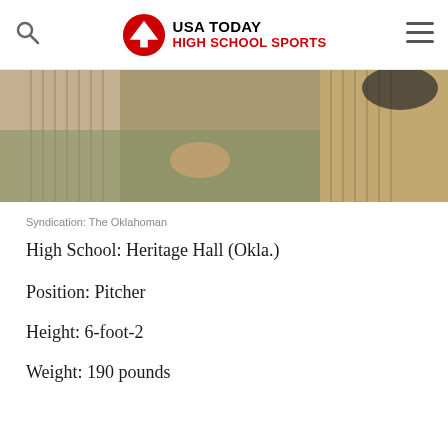USA TODAY HIGH SCHOOL SPORTS
[Figure (photo): Photo of baseball players in pinstripe uniforms, cropped at waist/chest level]
Syndication: The Oklahoman
High School: Heritage Hall (Okla.)
Position: Pitcher
Height: 6-foot-2
Weight: 190 pounds